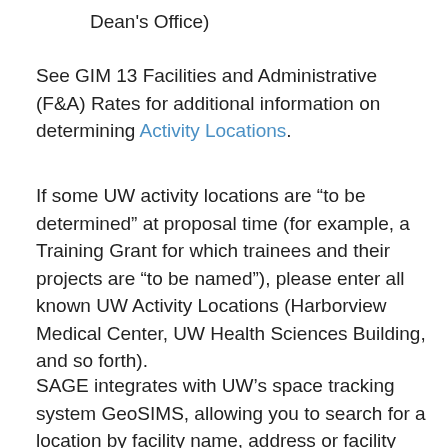Dean's Office)
See GIM 13 Facilities and Administrative (F&A) Rates for additional information on determining Activity Locations.
If some UW activity locations are “to be determined” at proposal time (for example, a Training Grant for which trainees and their projects are “to be named”), please enter all known UW Activity Locations (Harborview Medical Center, UW Health Sciences Building, and so forth).
SAGE integrates with UW’s space tracking system GeoSIMS, allowing you to search for a location by facility name, address or facility code. You can also manually enter locations not found in GeoSIMS by